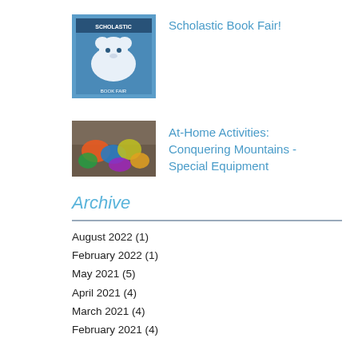[Figure (photo): Scholastic Book Fair cover image with polar bear illustration on blue background]
Scholastic Book Fair!
[Figure (photo): At-Home Activities photo showing colorful mountain climbing gear and equipment]
At-Home Activities: Conquering Mountains - Special Equipment
Archive
August 2022 (1)
February 2022 (1)
May 2021 (5)
April 2021 (4)
March 2021 (4)
February 2021 (4)